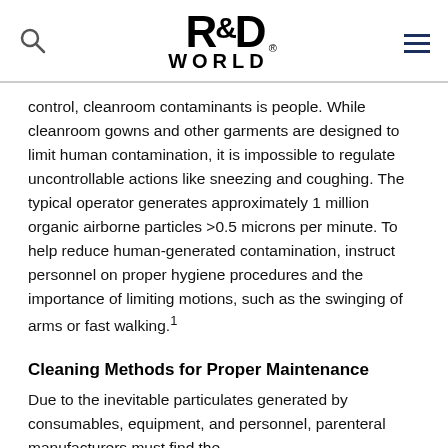R&D WORLD
control, cleanroom contaminants is people. While cleanroom gowns and other garments are designed to limit human contamination, it is impossible to regulate uncontrollable actions like sneezing and coughing. The typical operator generates approximately 1 million organic airborne particles >0.5 microns per minute. To help reduce human-generated contamination, instruct personnel on proper hygiene procedures and the importance of limiting motions, such as the swinging of arms or fast walking.¹
Cleaning Methods for Proper Maintenance
Due to the inevitable particulates generated by consumables, equipment, and personnel, parenteral manufacturers must find the